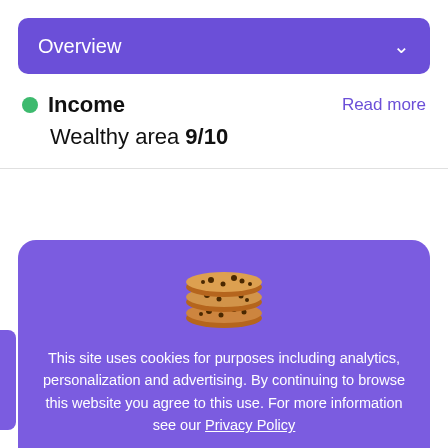Overview
Income
Wealthy area 9/10
Read more
[Figure (illustration): Cookie consent modal overlay with stacked chocolate chip cookies emoji/illustration, text about cookie usage policy, and 'Got it' button]
This site uses cookies for purposes including analytics, personalization and advertising. By continuing to browse this website you agree to this use. For more information see our Privacy Policy
Got it